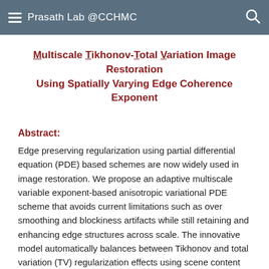Prasath Lab @CCHMC
Multiscale Tikhonov-Total Variation Image Restoration Using Spatially Varying Edge Coherence Exponent
Abstract:
Edge preserving regularization using partial differential equation (PDE) based schemes are now widely used in image restoration. We propose an adaptive multiscale variable exponent-based anisotropic variational PDE scheme that avoids current limitations such as over smoothing and blockiness artifacts while still retaining and enhancing edge structures across scale. The innovative model automatically balances between Tikhonov and total variation (TV) regularization effects using scene content